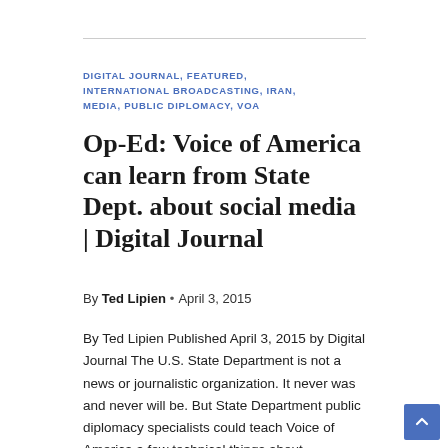DIGITAL JOURNAL, FEATURED, INTERNATIONAL BROADCASTING, IRAN, MEDIA, PUBLIC DIPLOMACY, VOA
Op-Ed: Voice of America can learn from State Dept. about social media | Digital Journal
By Ted Lipien • April 3, 2015
By Ted Lipien Published April 3, 2015 by Digital Journal The U.S. State Department is not a news or journalistic organization. It never was and never will be. But State Department public diplomacy specialists could teach Voice of America a few technical things about journalism in the digital age. VOA